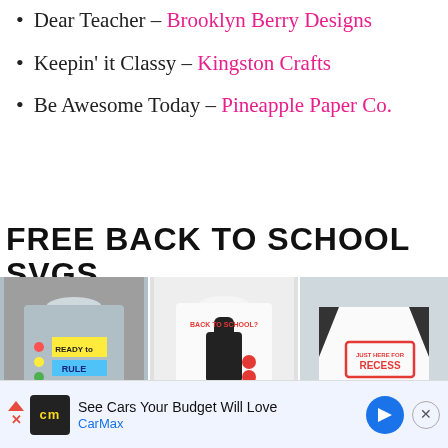Dear Teacher – Brooklyn Berry Designs
Keepin' it Classy – Kingston Crafts
Be Awesome Today – Pineapple Paper Co.
FREE BACK TO SCHOOL SVGS
[Figure (photo): Three T-shirts with back to school SVG designs: 'Ready to Rule the School', 'Back to School? I'm In-Llama-nate', and 'Just Here for Recess']
See Cars Your Budget Will Love – CarMax (advertisement)